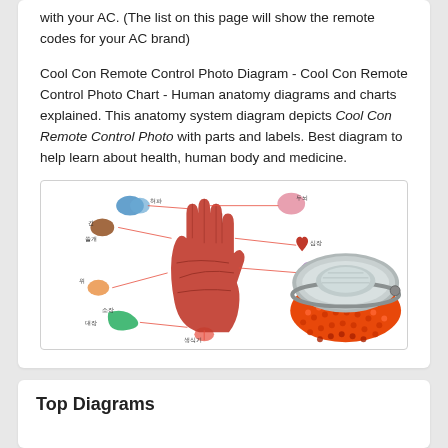with your AC. (The list on this page will show the remote codes for your AC brand)
Cool Con Remote Control Photo Diagram - Cool Con Remote Control Photo Chart - Human anatomy diagrams and charts explained. This anatomy system diagram depicts Cool Con Remote Control Photo with parts and labels. Best diagram to help learn about health, human body and medicine.
[Figure (illustration): Two-part illustration: left side shows a Korean-labeled acupressure/reflexology hand diagram with a red hand and lines connecting to small organ images (lungs, liver, stomach, intestines, heart, kidney, etc.) labeled in Korean; right side shows a round orange patterned object (resembling a remote control or device) with a grey metallic top portion.]
Top Diagrams